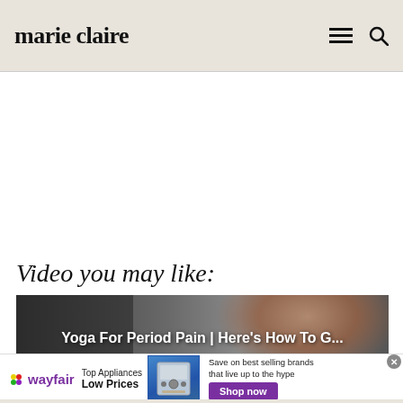marie claire
Video you may like:
[Figure (screenshot): Video thumbnail showing a woman with text overlay 'Yoga For Period Pain | Here's How To G...' on a dark background]
[Figure (other): Wayfair advertisement banner: Wayfair logo, 'Top Appliances Low Prices', image of a stove/range appliance, 'Save on best selling brands that live up to the hype', 'Shop now' purple button]